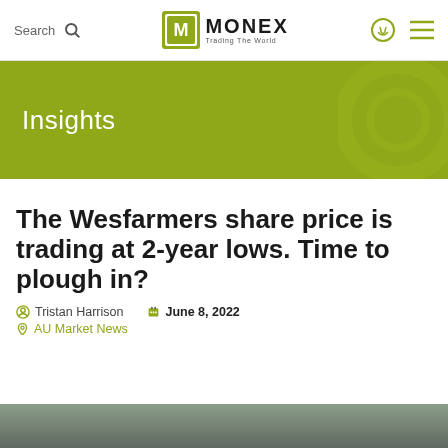Search | MONEX Trading The World
[Figure (logo): MONEX Trading The World logo with green icon]
Insights
The Wesfarmers share price is trading at 2-year lows. Time to plough in?
Tristan Harrison   June 8, 2022
AU Market News
[Figure (photo): Bottom portion of article page showing start of article image]